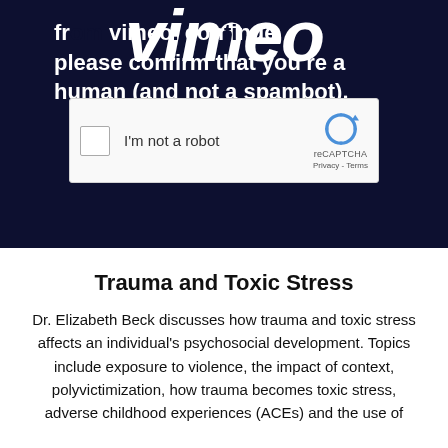[Figure (screenshot): Vimeo CAPTCHA verification screen with dark navy background showing partial Vimeo logo at top, text 'from vimeo...ontinue, please confirm that you are a human (and not a spambot).' and a reCAPTCHA checkbox widget below]
Trauma and Toxic Stress
Dr. Elizabeth Beck discusses how trauma and toxic stress affects an individual's psychosocial development. Topics include exposure to violence, the impact of context, polyvictimization, how trauma becomes toxic stress, adverse childhood experiences (ACEs) and the use of